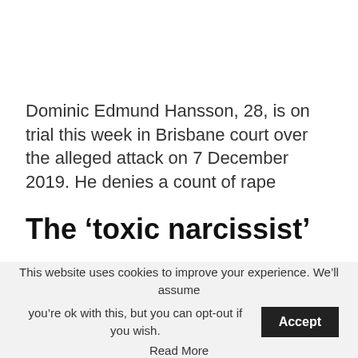Dominic Edmund Hansson, 28, is on trial this week in Brisbane court over the alleged attack on 7 December 2019. He denies a count of rape
The ‘toxic narcissist’
This website uses cookies to improve your experience. We’ll assume you’re ok with this, but you can opt-out if you wish. Accept Read More